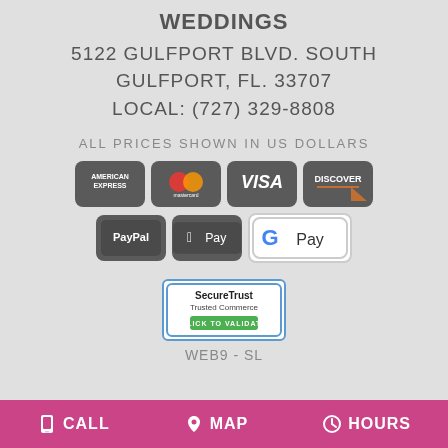WEDDINGS
5122 GULFPORT BLVD. SOUTH
GULFPORT, FL. 33707
LOCAL: (727) 329-8808
ALL PRICES SHOWN IN US DOLLARS
[Figure (logo): Payment method logos: American Express, Mastercard, Visa, Discover, PayPal, Apple Pay, Google Pay]
[Figure (logo): SecureTrust Trusted Commerce badge with CLICK TO VALIDATE button]
WEB9 - SL
CALL   MAP   HOURS